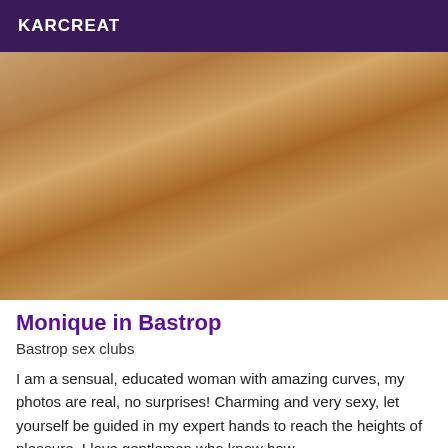KARCREAT
[Figure (photo): A person standing in a room with tiled floor and a bed in the background.]
Monique in Bastrop
Bastrop sex clubs
I am a sensual, educated woman with amazing curves, my photos are real, no surprises! Charming and very sexy, let yourself be guided in my expert hands to reach the heights of pleasure. I love gentlemen who know how